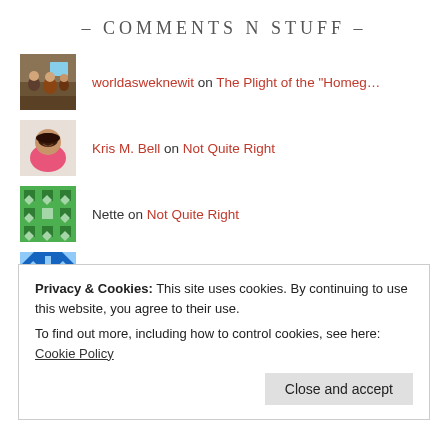- COMMENTS N STUFF -
worldasweknewit on The Plight of the "Homeg...
Kris M. Bell on Not Quite Right
Nette on Not Quite Right
nette on Dear Single Mothers: Father...
Colorblind Feminism... on Colorblind Feminism
Privacy & Cookies: This site uses cookies. By continuing to use this website, you agree to their use.
To find out more, including how to control cookies, see here: Cookie Policy
Close and accept